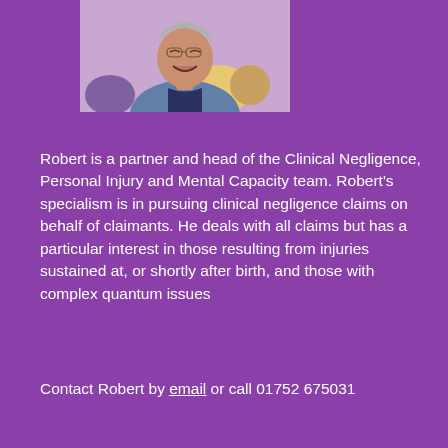[Figure (photo): Headshot photo of Robert, a middle-aged man wearing a dark polo shirt and grey blazer, smiling, with people visible in the background]
Robert is a partner and head of the Clinical Negligence, Personal Injury and Mental Capacity team. Robert's specialism is in pursuing clinical negligence claims on behalf of claimants. He deals with all claims but has a particular interest in those resulting from injuries sustained at, or shortly after birth, and those with complex quantum issues
Contact Robert by email or call 01752 675031